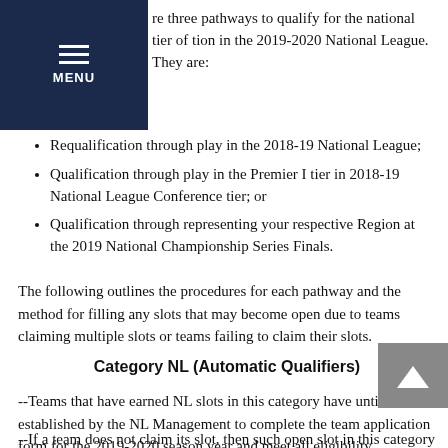MENU
re three pathways to qualify for the national tier of tion in the 2019-2020 National League. They are:
Requalification through play in the 2018-19 National League;
Qualification through play in the Premier I tier in 2018-19 National League Conference tier; or
Qualification through representing your respective Region at the 2019 National Championship Series Finals.
The following outlines the procedures for each pathway and the method for filling any slots that may become open due to teams claiming multiple slots or teams failing to claim their slots.
Category NL (Automatic Qualifiers)
--Teams that have earned NL slots in this category have until the date established by the NL Management to complete the team application form for the 2019-2020 season year and meet all eligibility requirements. Full payment of the team fee for 2019-2020 is due on or before the date established by the NL Management.
--If a team does not claim its slot, then such open slot in this category